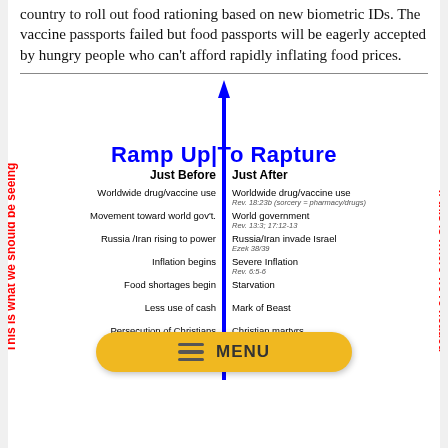country to roll out food rationing based on new biometric IDs. The vaccine passports failed but food passports will be eagerly accepted by hungry people who can't afford rapidly inflating food prices.
[Figure (infographic): Ramp Up To Rapture diagram with a vertical blue arrow, two columns 'Just Before' and 'Just After' listing prophetic events, with red rotated text on left and right sides reading 'This is what we should be seeing' and 'If this is where we're headed'. A MENU button overlay at the bottom.]